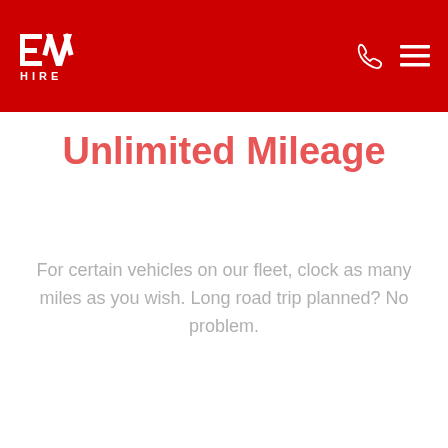EV HIRE
Unlimited Mileage
For certain vehicles on our fleet, clock as many miles as you wish. Long road trip planned? No problem.